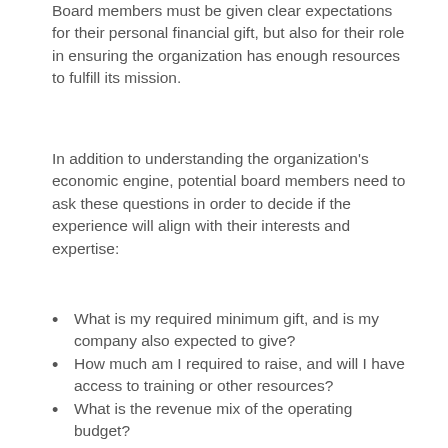Board members must be given clear expectations for their personal financial gift, but also for their role in ensuring the organization has enough resources to fulfill its mission.
In addition to understanding the organization's economic engine, potential board members need to ask these questions in order to decide if the experience will align with their interests and expertise:
What is my required minimum gift, and is my company also expected to give?
How much am I required to raise, and will I have access to training or other resources?
What is the revenue mix of the operating budget?
For the last five fiscal years, how often was the organization in the red or in the black?
Does the organization carry long-term debt